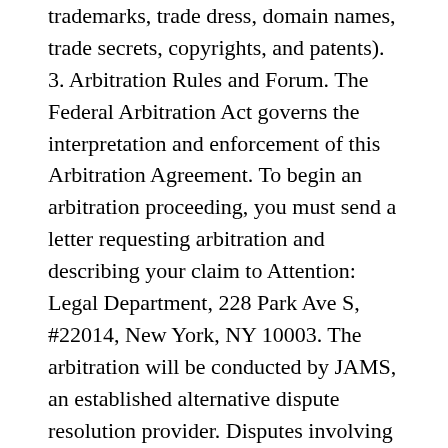trademarks, trade dress, domain names, trade secrets, copyrights, and patents). 3. Arbitration Rules and Forum. The Federal Arbitration Act governs the interpretation and enforcement of this Arbitration Agreement. To begin an arbitration proceeding, you must send a letter requesting arbitration and describing your claim to Attention: Legal Department, 228 Park Ave S, #22014, New York, NY 10003. The arbitration will be conducted by JAMS, an established alternative dispute resolution provider. Disputes involving claims and counterclaims under $250,000, not inclusive of attorneys' fees and interest, shall be subject to